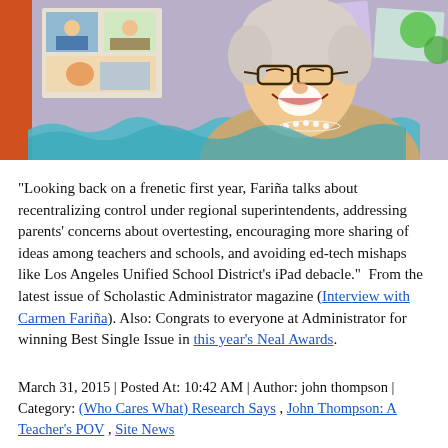[Figure (photo): Elderly woman smiling and laughing in a classroom setting, with photos of children on the wall behind her. She wears glasses and a tan jacket with a red shirt and pearl necklace. The background shows classroom decorations and student photos.]
"Looking back on a frenetic first year, Fariña talks about recentralizing control under regional superintendents, addressing parents' concerns about overtesting, encouraging more sharing of ideas among teachers and schools, and avoiding ed-tech mishaps like Los Angeles Unified School District's iPad debacle."  From the latest issue of Scholastic Administrator magazine (Interview with Carmen Fariña). Also: Congrats to everyone at Administrator for winning Best Single Issue in this year's Neal Awards.
March 31, 2015 | Posted At: 10:42 AM | Author: john thompson | Category: (Who Cares What) Research Says , John Thompson: A Teacher's POV , Site News
Thompson: Looking Back At Russo's Critique of